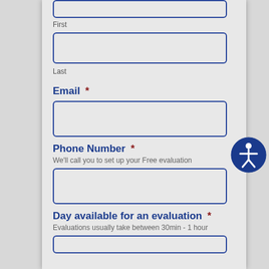First
Last
Email *
Phone Number *
We'll call you to set up your Free evaluation
Day available for an evaluation *
Evaluations usually take between 30min - 1 hour